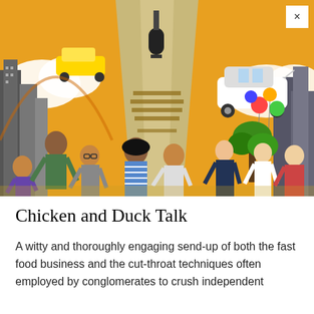[Figure (illustration): Colorful cartoon/caricature illustration showing multiple characters in an exaggerated comic style against an orange background with a tall building/obelisk in the center. Characters include diverse people with exaggerated expressions, a white Rolls-Royce car flying through the air, yellow taxi, cityscape, balloons, and other comic elements. Text on the obelisk is partially readable.]
Chicken and Duck Talk
A witty and thoroughly engaging send-up of both the fast food business and the cut-throat techniques often employed by conglomerates to crush independent